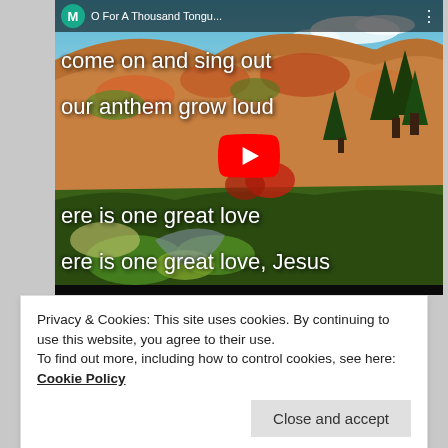[Figure (screenshot): YouTube video thumbnail showing autumn mountain landscape with lyrics text overlay: 'come on and sing out our anthem grow loud', 'ere is one great love', 'ere is one great love, Jesus'. Video title bar shows 'M O For A Thousand Tongu...' A red YouTube play button is centered on the video.]
Privacy & Cookies: This site uses cookies. By continuing to use this website, you agree to their use.
To find out more, including how to control cookies, see here: Cookie Policy
Close and accept